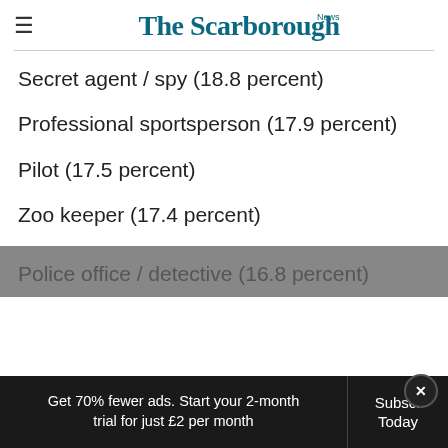The Scarborough News
Secret agent / spy (18.8 percent)
Professional sportsperson (17.9 percent)
Pilot (17.5 percent)
Zoo keeper (17.4 percent)
Police office / detective (16.8 percent)
Get 70% fewer ads. Start your 2-month trial for just £2 per month
Subscribe Today